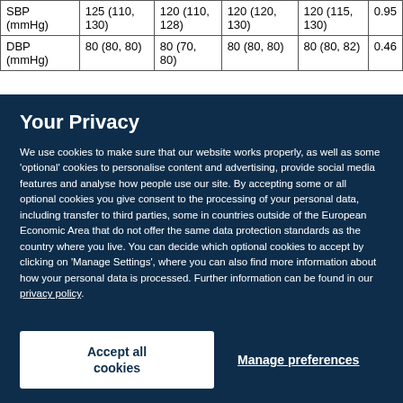|  |  |  |  |  |  |
| --- | --- | --- | --- | --- | --- |
| SBP (mmHg) | 125 (110, 130) | 120 (110, 128) | 120 (120, 130) | 120 (115, 130) | 0.95 |
| DBP (mmHg) | 80 (80, 80) | 80 (70, 80) | 80 (80, 80) | 80 (80, 82) | 0.46 |
Your Privacy
We use cookies to make sure that our website works properly, as well as some 'optional' cookies to personalise content and advertising, provide social media features and analyse how people use our site. By accepting some or all optional cookies you give consent to the processing of your personal data, including transfer to third parties, some in countries outside of the European Economic Area that do not offer the same data protection standards as the country where you live. You can decide which optional cookies to accept by clicking on 'Manage Settings', where you can also find more information about how your personal data is processed. Further information can be found in our privacy policy.